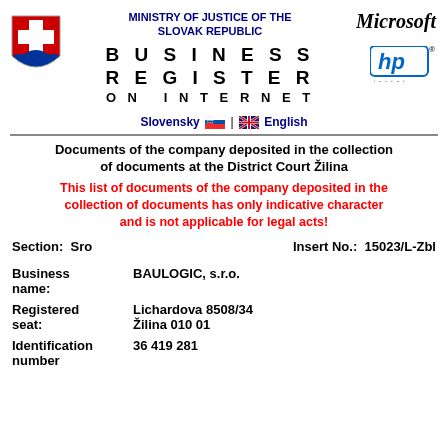MINISTRY OF JUSTICE OF THE SLOVAK REPUBLIC
BUSINESS REGISTER ON INTERNET
[Figure (logo): Slovak coat of arms shield]
[Figure (logo): Microsoft logo]
[Figure (logo): HP logo]
Slovensky | English
Documents of the company deposited in the collection of documents at the District Court Žilina
This list of documents of the company deposited in the collection of documents has only indicative character and is not applicable for legal acts!
Section:  Sro    Insert No.:  15023/L-Zbl
| Field | Value |
| --- | --- |
| Business name: | BAULOGIC, s.r.o. |
| Registered seat: | Lichardova 8508/34
Žilina 010 01 |
| Identification number | 36 419 281 |